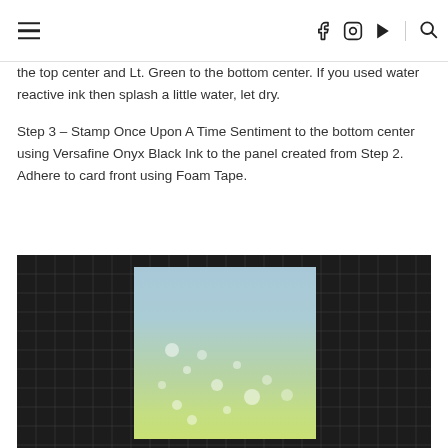navigation header with hamburger menu, social icons (Facebook, Instagram, YouTube) and search
the top center and Lt. Green to the bottom center. If you used water reactive ink then splash a little water, let dry.
Step 3 – Stamp Once Upon A Time Sentiment to the bottom center using Versafine Onyx Black Ink to the panel created from Step 2. Adhere to card front using Foam Tape.
[Figure (photo): A white card panel with blue-to-green ink blending and bokeh water droplet effect, placed on a black craft cutting mat with white grid lines.]